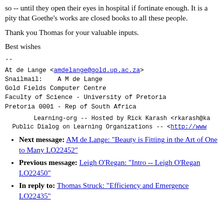so -- until they open their eyes in hospital if fortinate enough. It is a pity that Goethe's works are closed books to all these people.
Thank you Thomas for your valuable inputs.
Best wishes
--
At de Lange <amdelange@gold.up.ac.za>
Snailmail:    A M de Lange
Gold Fields Computer Centre
Faculty of Science - University of Pretoria
Pretoria 0001 - Rep of South Africa
Learning-org -- Hosted by Rick Karash <rkarash@ka...
Public Dialog on Learning Organizations -- <http://www...
Next message: AM de Lange: "Beauty is Fitting in the Art of One to Many LO22452"
Previous message: Leigh O'Regan: "Intro -- Leigh O'Regan LO22450"
In reply to: Thomas Struck: "Efficiency and Emergence LO22435"